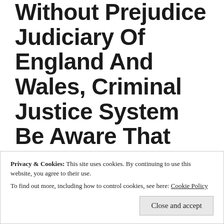Without Prejudice Judiciary Of England And Wales, Criminal Justice System Be Aware That Proof Online Will Ensure Covering Up LEYF And Cohorts Paedophile Rings Will Be
Privacy & Cookies: This site uses cookies. By continuing to use this website, you agree to their use. To find out more, including how to control cookies, see here: Cookie Policy